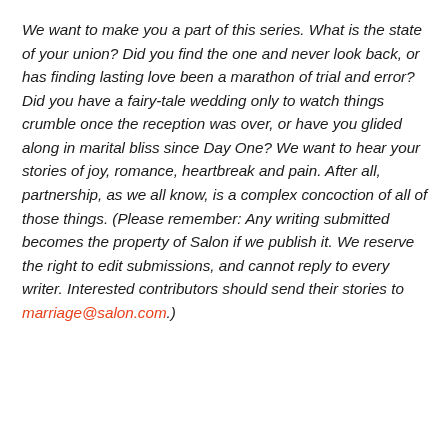We want to make you a part of this series. What is the state of your union? Did you find the one and never look back, or has finding lasting love been a marathon of trial and error? Did you have a fairy-tale wedding only to watch things crumble once the reception was over, or have you glided along in marital bliss since Day One? We want to hear your stories of joy, romance, heartbreak and pain. After all, partnership, as we all know, is a complex concoction of all of those things. (Please remember: Any writing submitted becomes the property of Salon if we publish it. We reserve the right to edit submissions, and cannot reply to every writer. Interested contributors should send their stories to marriage@salon.com.)